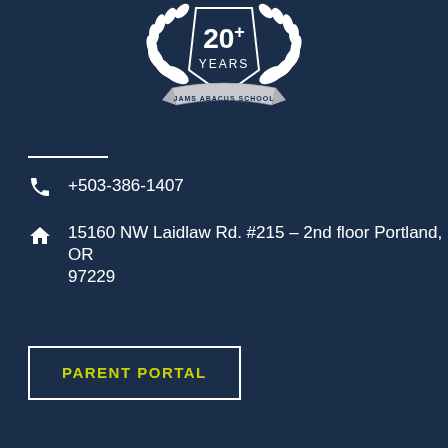[Figure (logo): JAMS Abacus School 20+ Years badge with laurel wreath and banner ribbon]
+503-386-1407
15160 NW Laidlaw Rd. #215 - 2nd floor Portland, OR 97229
PARENT PORTAL